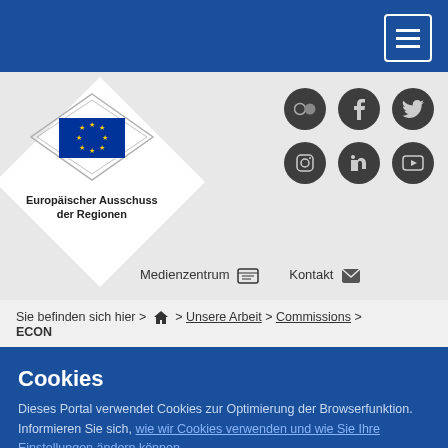[Figure (logo): Blue navigation bar with hamburger menu icon button (three white lines in a rounded square border)]
[Figure (logo): Europäischer Ausschuss der Regionen logo with EU flag in diamond shape and social media icons (Flickr, Facebook, Twitter, Instagram, LinkedIn, YouTube)]
Medienzentrum  Kontakt
Sie befinden sich hier > 🏠 > Unsere Arbeit > Commissions > ECON
Cookies
Dieses Portal verwendet Cookies zur Optimierung der Browserfunktion. Informieren Sie sich, wie wir Cookies verwenden und wie Sie Ihre Einstellungen ändern können.
Cookies akzeptieren
Cookies ablehnen